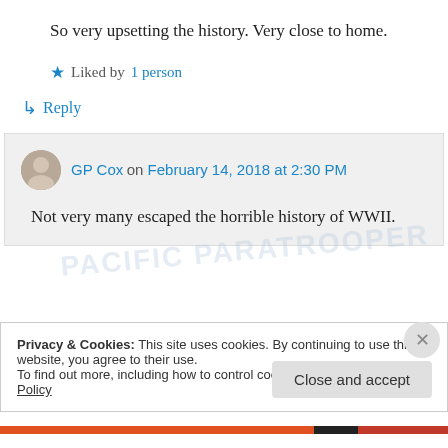So very upsetting the history. Very close to home.
Liked by 1 person
Reply
GP Cox on February 14, 2018 at 2:30 PM
Not very many escaped the horrible history of WWII.
Privacy & Cookies: This site uses cookies. By continuing to use this website, you agree to their use.
To find out more, including how to control cookies, see here: Cookie Policy
Close and accept